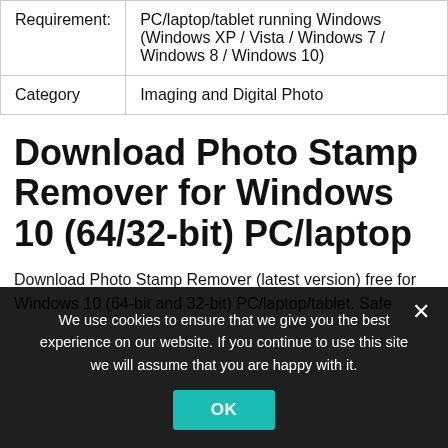| Requirement: | PC/laptop/tablet running Windows (Windows XP / Vista / Windows 7 / Windows 8 / Windows 10) |
| Category | Imaging and Digital Photo |
Download Photo Stamp Remover for Windows 10 (64/32-bit) PC/laptop
Download Photo Stamp Remover (latest version) free for Windows 10 (64-bit and 32-bit) PC/laptop/tablet. Safe
We use cookies to ensure that we give you the best experience on our website. If you continue to use this site we will assume that you are happy with it.